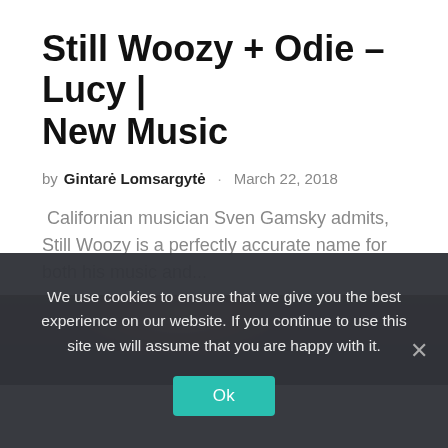Still Woozy + Odie – Lucy | New Music
by Gintarė Lomsargytė · March 22, 2018
Californian musician Sven Gamsky admits, Still Woozy is a perfectly accurate name for both his music and...
[Figure (photo): Dark background photo, appears to show a performer under stage lighting with reddish/warm tones]
We use cookies to ensure that we give you the best experience on our website. If you continue to use this site we will assume that you are happy with it.